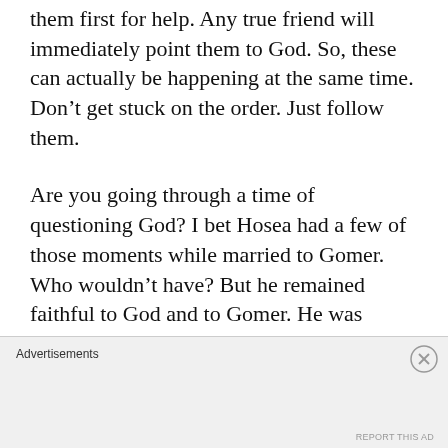them first for help. Any true friend will immediately point them to God. So, these can actually be happening at the same time. Don’t get stuck on the order. Just follow them.
Are you going through a time of questioning God? I bet Hosea had a few of those moments while married to Gomer. Who wouldn’t have? But he remained faithful to God and to Gomer. He was obedient to God’s original calling. Will you do that? Go back to that original calling on your life. Let the Lord
Advertisements